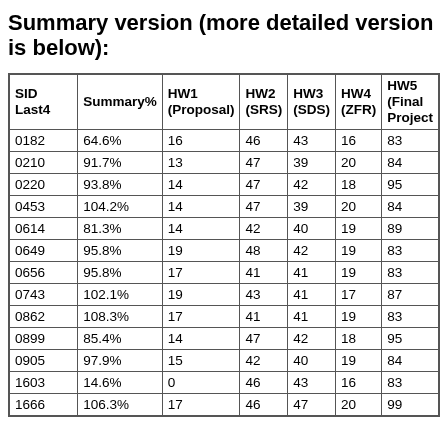Summary version (more detailed version is below):
| SID Last4 | Summary% | HW1 (Proposal) | HW2 (SRS) | HW3 (SDS) | HW4 (ZFR) | HW5 (Final Project) |
| --- | --- | --- | --- | --- | --- | --- |
| 0182 | 64.6% | 16 | 46 | 43 | 16 | 83 |
| 0210 | 91.7% | 13 | 47 | 39 | 20 | 84 |
| 0220 | 93.8% | 14 | 47 | 42 | 18 | 95 |
| 0453 | 104.2% | 14 | 47 | 39 | 20 | 84 |
| 0614 | 81.3% | 14 | 42 | 40 | 19 | 89 |
| 0649 | 95.8% | 19 | 48 | 42 | 19 | 83 |
| 0656 | 95.8% | 17 | 41 | 41 | 19 | 83 |
| 0743 | 102.1% | 19 | 43 | 41 | 17 | 87 |
| 0862 | 108.3% | 17 | 41 | 41 | 19 | 83 |
| 0899 | 85.4% | 14 | 47 | 42 | 18 | 95 |
| 0905 | 97.9% | 15 | 42 | 40 | 19 | 84 |
| 1603 | 14.6% | 0 | 46 | 43 | 16 | 83 |
| 1666 | 106.3% | 17 | 46 | 47 | 20 | 99 |